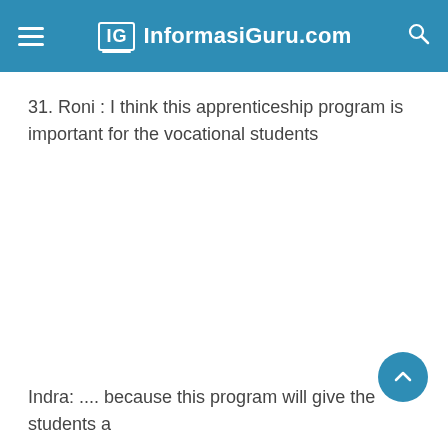IG InformasiGuru.com
31. Roni : I think this apprenticeship program is important for the vocational students
Indra: .... because this program will give the students a